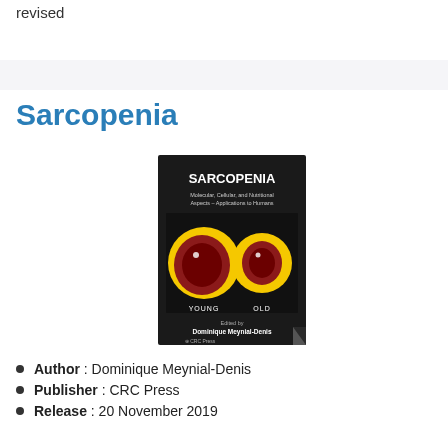revised
Sarcopenia
[Figure (photo): Book cover of Sarcopenia: Molecular, Cellular, and Nutritional Aspects – Applications to Humans, edited by Dominique Meynial-Denis, published by CRC Press. Dark background with title text and two circular images labeled YOUNG and OLD showing muscle cross-sections.]
Author : Dominique Meynial-Denis
Publisher : CRC Press
Release : 20 November 2019